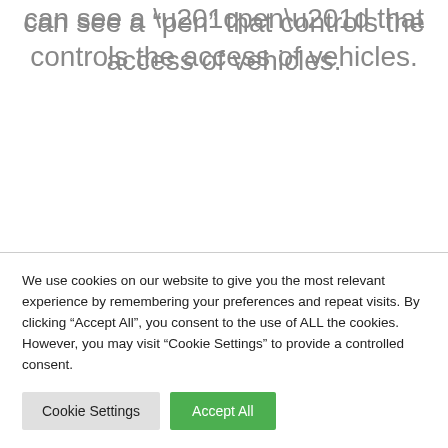can see a “pen” that controls the access of vehicles.
We use cookies on our website to give you the most relevant experience by remembering your preferences and repeat visits. By clicking “Accept All”, you consent to the use of ALL the cookies. However, you may visit "Cookie Settings" to provide a controlled consent.
Cookie Settings
Accept All